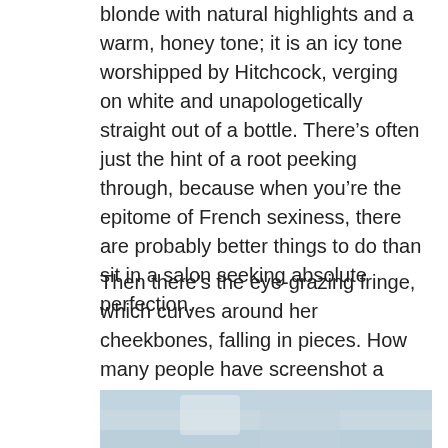blonde with natural highlights and a warm, honey tone; it is an icy tone worshipped by Hitchcock, verging on white and unapologetically straight out of a bottle. There's often just the hint of a root peeking through, because when you're the epitome of French sexiness, there are probably better things to do than sit in a salon seeking absolute perfection.
Then there's the eye-grazing fringe, which curves around her cheekbones, falling in pieces. How many people have screenshot a #TBT Instagram post, thrown themselves at the mercy of their hairdresser and begged them to give them bangs even a fraction as beautiful?
[Figure (photo): Partial view of a photo at the bottom of the page showing light blue/grey tones, likely a person with blonde hair.]